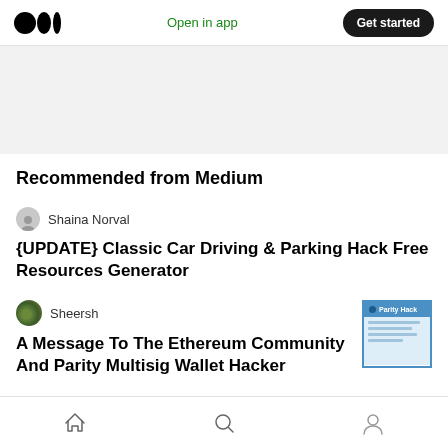Open in app | Get started
Recommended from Medium
Shaina Norval
{UPDATE} Classic Car Driving & Parking Hack Free Resources Generator
Sheersh
A Message To The Ethereum Community And Parity Multisig Wallet Hacker
[Figure (screenshot): Parity Hack article thumbnail showing blue header with 'Parity Hack' text]
Home | Search | Profile